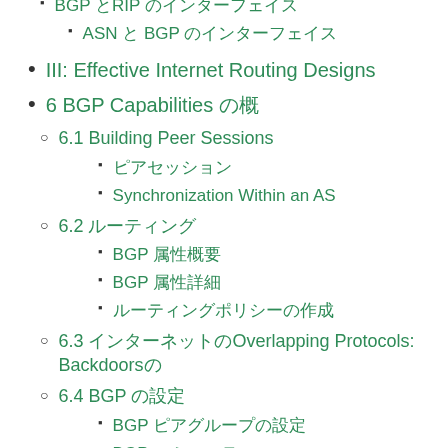BGP とRIP のインターフェイス
ASN と BGP のインターフェイス
III: Effective Internet Routing Designs
6 BGP Capabilities の概
6.1 Building Peer Sessions
ピアセッション
Synchronization Within an AS
6.2 ルーティング
BGP 属性概要
BGP 属性詳細
ルーティングポリシーの作成
6.3 インターネットのOverlapping Protocols: Backdoorsの
6.4 BGP の設定
BGP ピアグループの設定
BGP コミュニティ
6.5 Controlling BGP Routes